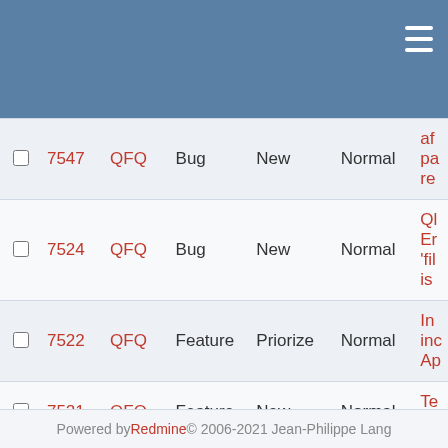|  | # | Project | Tracker | Status | Priority | Subject |
| --- | --- | --- | --- | --- | --- | --- |
|  | 7547 | QFQ | Bug | New | Normal | af pa re |
|  | 7524 | QFQ | Bug | New | Normal | QI Er 'fil is |
|  | 7522 | QFQ | Feature | Priorize | Normal | In inc Ap |
|  | 7521 | QFQ | Feature | New | Normal | Te fe |
« Previous   13   Next »
(301-325/565) Per page: 25, 50, 100
Also available in: Atom | CSV | PDF
Powered by Redmine © 2006-2021 Jean-Philippe Lang